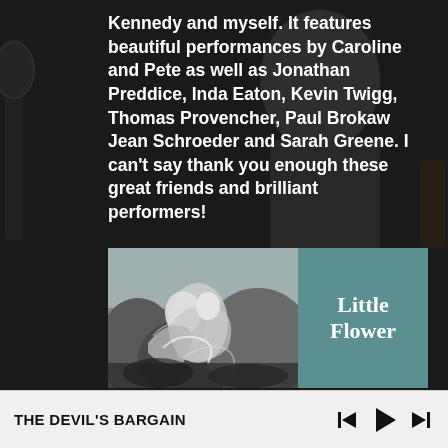Kennedy and myself. It features beautiful performances by Caroline and Pete as well as Jonathan Preddice, Inda Eaton, Kevin Twigg, Thomas Provencher, Paul Brokaw Jean Schroeder and Sarah Greene. I can't say thank you enough these great friends and brilliant performers!
[Figure (illustration): Album cover for 'Little Flower' — left half shows a classical monochrome illustration of figures in motion, right half is teal/slate blue with white serif text reading 'Little Flower']
THE DEVIL'S BARGAIN